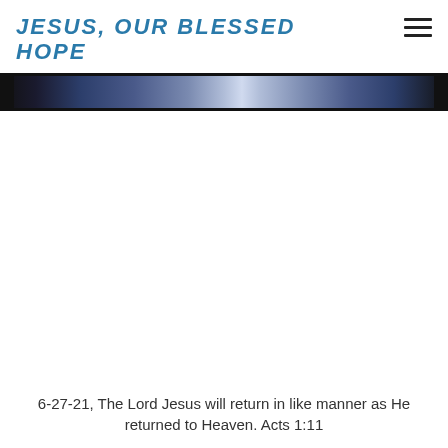JESUS, OUR BLESSED HOPE
[Figure (photo): A wide banner image showing a dark sky/heavenly scene with a bright light in the center, flanked by dark bars on left and right edges.]
6-27-21, The Lord Jesus will return in like manner as He returned to Heaven. Acts 1:11